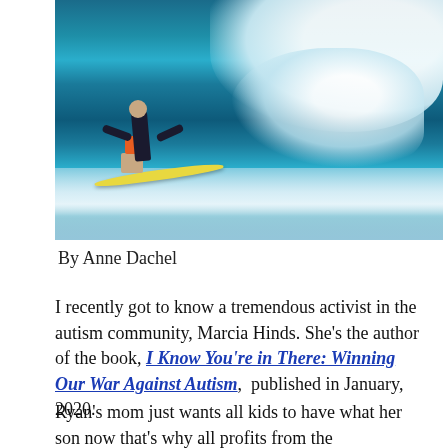[Figure (photo): A surfer riding a large ocean wave on a yellow surfboard, wearing a black wetsuit and colorful shorts, with white foamy waves in the background.]
By Anne Dachel
I recently got to know a tremendous activist in the autism community, Marcia Hinds. She's the author of the book, I Know You're in There: Winning Our War Against Autism, published in January, 2020.
Ryan's mom just wants all kids to have what her son now that's why all profits from the